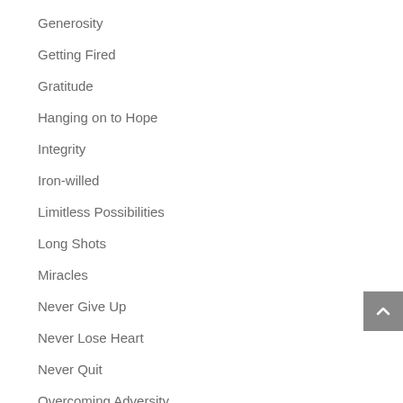Generosity
Getting Fired
Gratitude
Hanging on to Hope
Integrity
Iron-willed
Limitless Possibilities
Long Shots
Miracles
Never Give Up
Never Lose Heart
Never Quit
Overcoming Adversity
Overcoming Failure